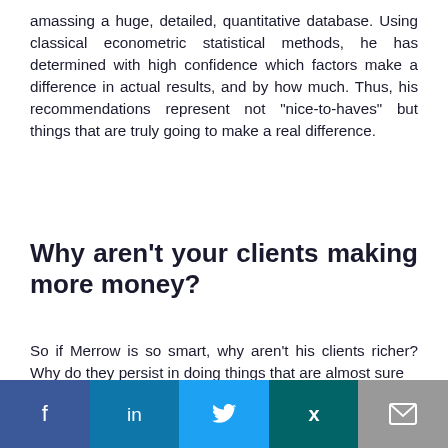amassing a huge, detailed, quantitative database. Using classical econometric statistical methods, he has determined with high confidence which factors make a difference in actual results, and by how much. Thus, his recommendations represent not "nice-to-haves" but things that are truly going to make a real difference.
Why aren't your clients making more money?
So if Merrow is so smart, why aren't his clients richer? Why do they persist in doing things that are almost sure
Cookie Notice
Find out more about how this website uses cookies to enhance your browsing experience.
[Figure (infographic): Social sharing bar with icons for Facebook (f), LinkedIn (in), Twitter (bird), Xing (x), and email (envelope).]